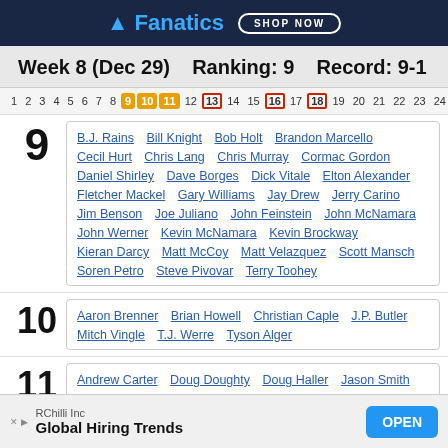[Figure (other): Fanatics advertisement banner with shop now button]
Week 8 (Dec 29)   Ranking: 9   Record: 9-1
[Figure (infographic): Week navigation bar with weeks 1-25 and NR, weeks 9-11 highlighted orange, 13 16 18 with red borders]
Ranking 9 voters: B.J. Rains, Bill Knight, Bob Holt, Brandon Marcello, Cecil Hurt, Chris Lang, Chris Murray, Cormac Gordon, Daniel Shirley, Dave Borges, Dick Vitale, Elton Alexander, Fletcher Mackel, Gary Williams, Jay Drew, Jerry Carino, Jim Benson, Joe Juliano, John Feinstein, John McNamara, John Werner, Kevin McNamara, Kevin Brockway, Kieran Darcy, Matt McCoy, Matt Velazquez, Scott Mansch, Soren Petro, Steve Pivovar, Terry Toohey
Ranking 10 voters: Aaron Brenner, Brian Howell, Christian Caple, J.P. Butler, Mitch Vingle, T.J. Werre, Tyson Alger
Ranking 11 voters: Andrew Carter, Doug Doughty, Doug Haller, Jason Smith
[Figure (other): RC Hilli Inc - Global Hiring Trends advertisement with OPEN button]